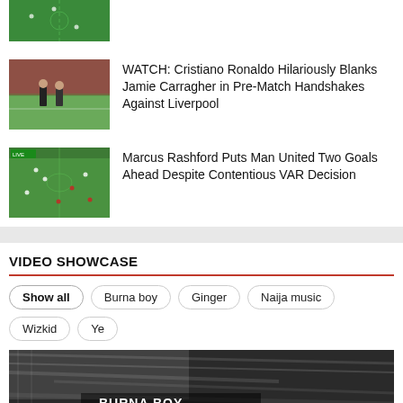[Figure (photo): Partial football/soccer pitch thumbnail at top of page, green grass visible]
[Figure (photo): Two men in suits on a football pitch shaking hands or blanking each other, crowd in background]
WATCH: Cristiano Ronaldo Hilariously Blanks Jamie Carragher in Pre-Match Handshakes Against Liverpool
[Figure (photo): Wide shot of football pitch during a match, players visible on green grass]
Marcus Rashford Puts Man United Two Goals Ahead Despite Contentious VAR Decision
VIDEO SHOWCASE
Show all
Burna boy
Ginger
Naija music
Wizkid
Ye
[Figure (photo): Close-up photo of what appears to be a vinyl record or headphones with text BurnaBoy partially visible]